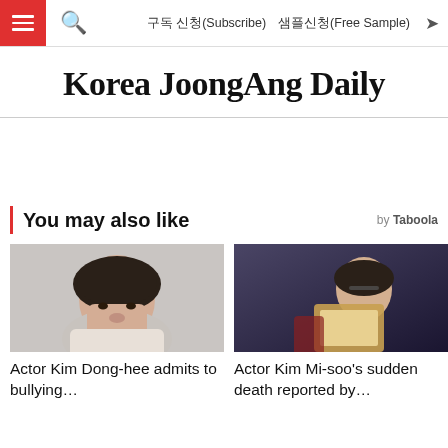구독 신청(Subscribe)   샘플신청(Free Sample)
Korea JoongAng Daily
You may also like
[Figure (photo): Portrait photo of actor Kim Dong-hee, young Korean man with dark hair against light background]
[Figure (photo): Actor Kim Mi-soo reading a book in a dimly lit scene, wearing glasses]
Actor Kim Dong-hee admits to bullying…
Actor Kim Mi-soo's sudden death reported by…